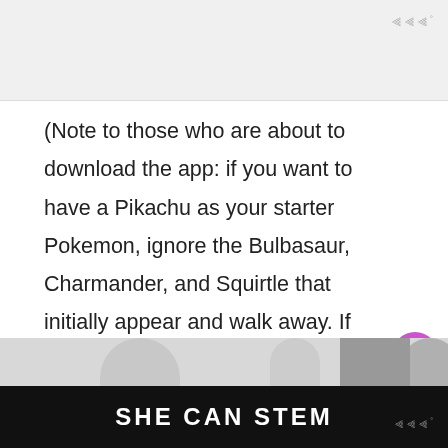[Figure (photo): Light gray placeholder image area at the top of the page with a watermark logo in the top right corner]
(Note to those who are about to download the app: if you want to have a Pikachu as your starter Pokemon, ignore the Bulbasaur, Charmander, and Squirtle that initially appear and walk away. If you do this a few times, Pikachu will show up for you to catch.)
[Figure (photo): Partial photo strip at the bottom showing people, above a dark banner]
SHE CAN STEM